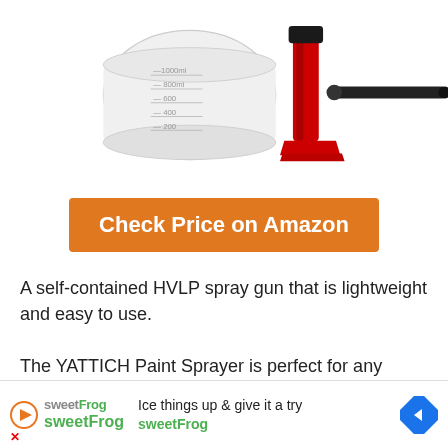[Figure (photo): HVLP paint spray gun with white container/cup showing measurement markings (1000ml, 800ml, 600ml, 400ml, 200ml) and a red/black spray gun handle with a black hose/nozzle attachment]
Check Price on Amazon
A self-contained HVLP spray gun that is lightweight and easy to use.

The YATTICH Paint Sprayer is perfect for any interior or exterior surface.

It has a high-pressure valve that allows you to control the airflow to work with any paint in any thickness.

Additionally, it has an electrical power supply with a cord so that you can plug it in without the need for
[Figure (advertisement): sweetFrog advertisement banner: play button icon, sweetFrog logo in green, text 'Ice things up & give it a try sweetFrog', blue diamond directional arrow icon on right]